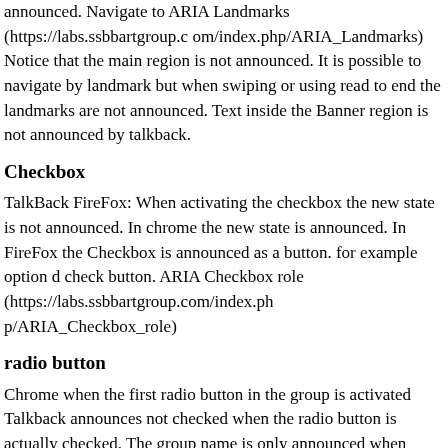announced. Navigate to ARIA Landmarks (https://labs.ssbbartgroup.com/index.php/ARIA_Landmarks) Notice that the main region is not announced. It is possible to navigate by landmark but when swiping or using read to end the landmarks are not announced. Text inside the Banner region is not announced by talkback.
Checkbox
TalkBack FireFox: When activating the checkbox the new state is not announced. In chrome the new state is announced. In FireFox the Checkbox is announced as a button. for example option d check button. ARIA Checkbox role (https://labs.ssbbartgroup.com/index.php/ARIA_Checkbox_role)
radio button
Chrome when the first radio button in the group is activated Talkback announces not checked when the radio button is actually checked. The group name is only announced when navigating to the radio button group from the top. The aria-posinset value is not announced. ARIA Radio and Radiogroup (https://labs.ssbbartgroup.com/index.php/ARIA_Radio_and_Radiogroup)